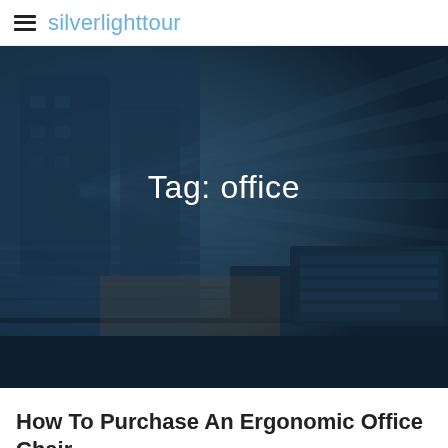silverlighttour
[Figure (photo): Dark blue tinted photo of office equipment including a keyboard and phone, with light rays radiating from the left. Overlaid with text 'Tag: office'.]
Tag: office
How To Purchase An Ergonomic Office Chair
by nola